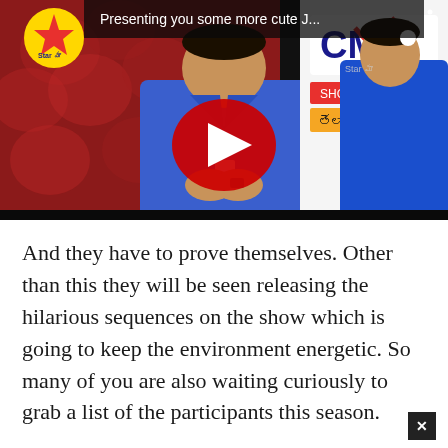[Figure (screenshot): YouTube video thumbnail showing a man in a blue suit with hands clasped, a woman in a blue saree to the right, red flower background, CMR branding visible, YouTube play button overlay, Star Maa channel logo, title text 'Presenting you some more cute J...']
And they have to prove themselves. Other than this they will be seen releasing the hilarious sequences on the show which is going to keep the environment energetic. So many of you are also waiting curiously to grab a list of the participants this season.